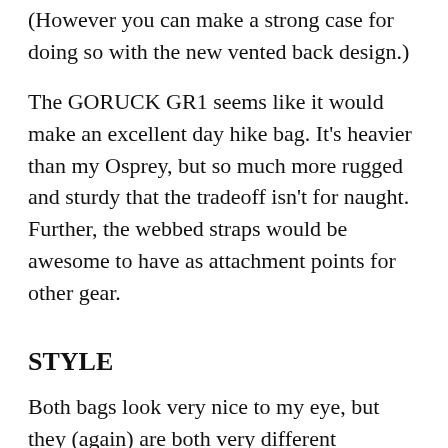(However you can make a strong case for doing so with the new vented back design.)
The GORUCK GR1 seems like it would make an excellent day hike bag. It's heavier than my Osprey, but so much more rugged and sturdy that the tradeoff isn't for naught. Further, the webbed straps would be awesome to have as attachment points for other gear.
STYLE
Both bags look very nice to my eye, but they (again) are both very different stylistically. The Smart Alec is more casual looking, whereas the GORUCK looks more military in nature.